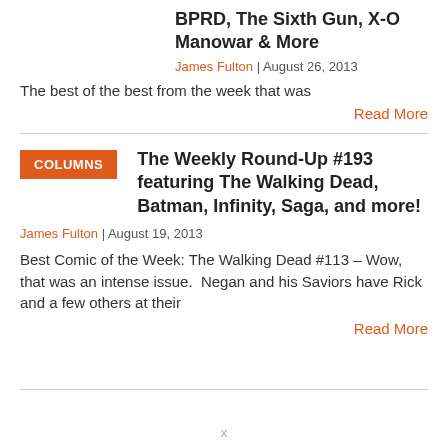BPRD, The Sixth Gun, X-O Manowar & More
James Fulton  |  August 26, 2013
The best of the best from the week that was
Read More
COLUMNS
The Weekly Round-Up #193 featuring The Walking Dead, Batman, Infinity, Saga, and more!
James Fulton  |  August 19, 2013
Best Comic of the Week: The Walking Dead #113 – Wow, that was an intense issue.  Negan and his Saviors have Rick and a few others at their
Read More